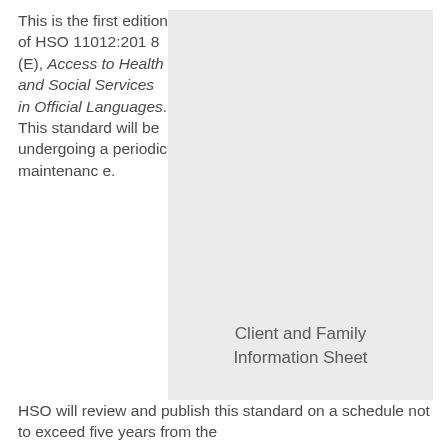This is the first edition of HSO 11012:2018 (E), Access to Health and Social Services in Official Languages. This standard will be undergoing a periodic maintenance. HSO will review and publish this standard on a schedule not to exceed five years from the
[Figure (other): Light gray rectangular placeholder image with caption 'Client and Family Information Sheet' centered near the bottom]